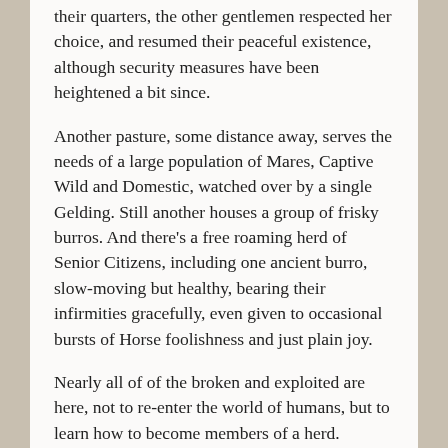their quarters, the other gentlemen respected her choice, and resumed their peaceful existence, although security measures have been heightened a bit since.
Another pasture, some distance away, serves the needs of a large population of Mares, Captive Wild and Domestic, watched over by a single Gelding. Still another houses a group of frisky burros. And there's a free roaming herd of Senior Citizens, including one ancient burro, slow-moving but healthy, bearing their infirmities gracefully, even given to occasional bursts of Horse foolishness and just plain joy.
Nearly all of of the broken and exploited are here, not to re-enter the world of humans, but to learn how to become members of a herd.
The Sanctuary's Salad Chef, trough washer and